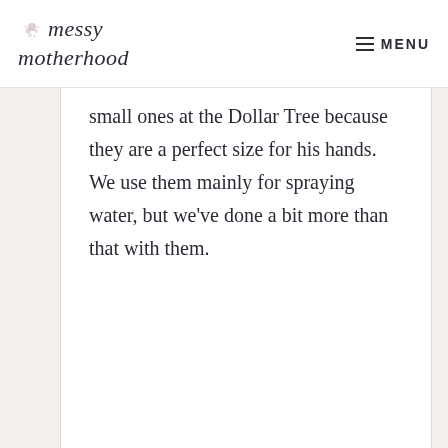messy motherhood | MENU
small ones at the Dollar Tree because they are a perfect size for his hands.  We use them mainly for spraying water, but we've done a bit more than that with them.